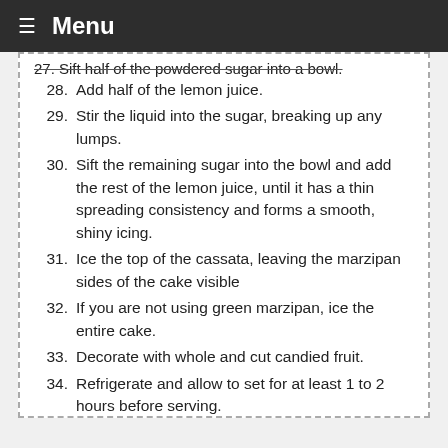≡ Menu
27. Sift half of the powdered sugar into a bowl.
28. Add half of the lemon juice.
29. Stir the liquid into the sugar, breaking up any lumps.
30. Sift the remaining sugar into the bowl and add the rest of the lemon juice, until it has a thin spreading consistency and forms a smooth, shiny icing.
31. Ice the top of the cassata, leaving the marzipan sides of the cake visible
32. If you are not using green marzipan, ice the entire cake.
33. Decorate with whole and cut candied fruit.
34. Refrigerate and allow to set for at least 1 to 2 hours before serving.